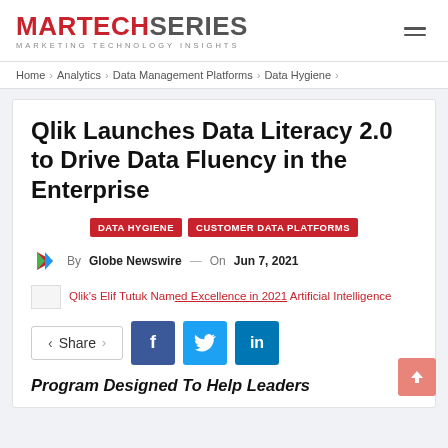MARTECHSERIES MARKETING TECHNOLOGY INSIGHTS
Home > Analytics > Data Management Platforms > Data Hygiene >
Qlik Launches Data Literacy 2.0 to Drive Data Fluency in the Enterprise
DATA HYGIENE   CUSTOMER DATA PLATFORMS
By Globe Newswire — On Jun 7, 2021
Qlik's Elif Tutuk Named Excellence in 2021 Artificial Intelligence
Share
Program Designed To Help Leaders